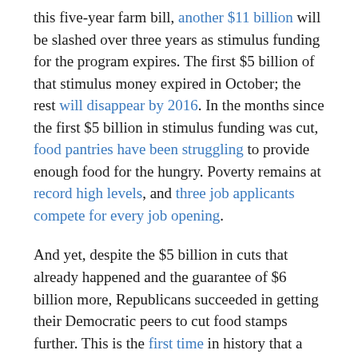this five-year farm bill, another $11 billion will be slashed over three years as stimulus funding for the program expires. The first $5 billion of that stimulus money expired in October; the rest will disappear by 2016. In the months since the first $5 billion in stimulus funding was cut, food pantries have been struggling to provide enough food for the hungry. Poverty remains at record high levels, and three job applicants compete for every job opening.
And yet, despite the $5 billion in cuts that already happened and the guarantee of $6 billion more, Republicans succeeded in getting their Democratic peers to cut food stamps further. This is the first time in history that a Democratic Senate has even proposed cutting the program. Now the upper chamber is expected to pass cuts twice the level it approved last year.
“It’s a net loss for Democrats,” Rep. Raul Grijalva (D-